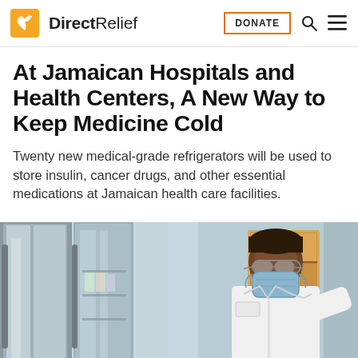Direct Relief — DONATE
At Jamaican Hospitals and Health Centers, A New Way to Keep Medicine Cold
Twenty new medical-grade refrigerators will be used to store insulin, cancer drugs, and other essential medications at Jamaican health care facilities.
[Figure (photo): A healthcare worker wearing a mask and white coat stands next to large medical-grade refrigerators in a clinical setting.]